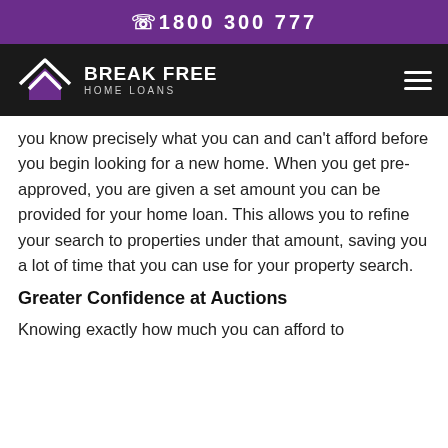1800 300 777
[Figure (logo): Break Free Home Loans logo with house/roof icon and hamburger menu on black background]
you know precisely what you can and can't afford before you begin looking for a new home. When you get pre-approved, you are given a set amount you can be provided for your home loan. This allows you to refine your search to properties under that amount, saving you a lot of time that you can use for your property search.
Greater Confidence at Auctions
Knowing exactly how much you can afford to